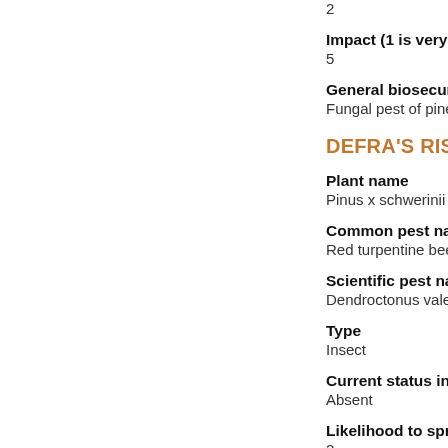2
Impact (1 is very low - 5
General biosecurity co
Fungal pest of pine; alrea
DEFRA'S RISK RE
Plant name
Pinus x schwerinii 'Wietho
Common pest name
Red turpentine beetle
Scientific pest name
Dendroctonus valens
Type
Insect
Current status in UK
Absent
Likelihood to spread t
2
Impact (1 is very low -
5